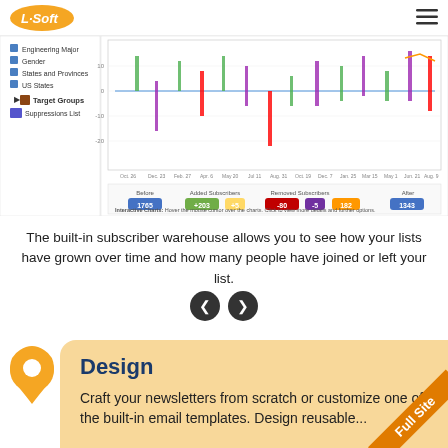L-Soft
[Figure (screenshot): L-Soft subscriber warehouse interface screenshot showing a line chart with subscriber growth data over time, with a sidebar showing list categories including Engineering Major, Gender, States and Provinces, US States, Target Groups, Suppressions List. The chart shows subscriber changes with colored bars. Below the chart is a legend showing Before, Added Subscribers, Removed Subscribers, and After counts.]
The built-in subscriber warehouse allows you to see how your lists have grown over time and how many people have joined or left your list.
[Figure (other): Navigation arrows: left arrow (back) and right arrow (forward) as circular dark buttons]
Design
Craft your newsletters from scratch or customize one of the built-in email templates. Design reusable...